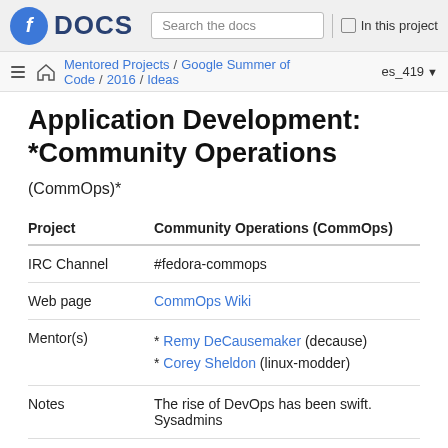Fedora DOCS | Search the docs | In this project
Mentored Projects / Google Summer of Code / 2016 / Ideas | es_419
Application Development: *Community Operations
(CommOps)*
| Project | Community Operations (CommOps) |
| --- | --- |
| IRC Channel | #fedora-commops |
| Web page | CommOps Wiki |
| Mentor(s) | * Remy DeCausemaker (decause)
* Corey Sheldon (linux-modder) |
| Notes | The rise of DevOps has been swift. Sysadmins |